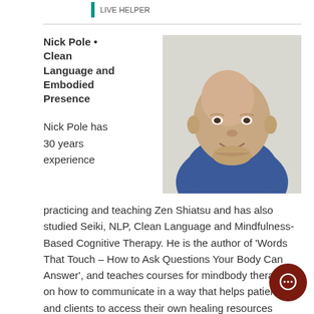LIVE HELPER
Nick Pole • Clean Language and Embodied Presence
[Figure (photo): Portrait photo of Nick Pole, a bald middle-aged man in a blue shirt, smiling with his hand under his chin against a light grey background.]
Nick Pole has 30 years experience practicing and teaching Zen Shiatsu and has also studied Seiki, NLP, Clean Language and Mindfulness-Based Cognitive Therapy. He is the author of 'Words That Touch – How to Ask Questions Your Body Can Answer', and teaches courses for mindbody therapists on how to communicate in a way that helps patients and clients to access their own healing resources